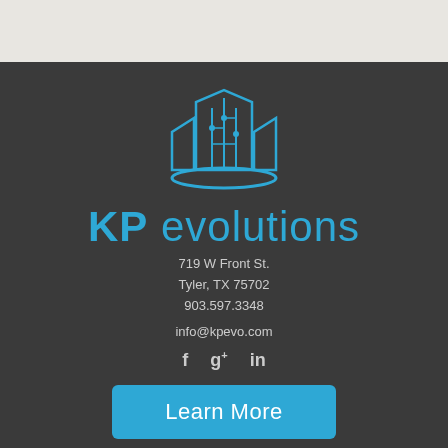[Figure (logo): KP Evolutions company logo: blue building/skyscraper icon with circuit lines and an oval swoosh below]
KP evolutions
719 W Front St.
Tyler, TX 75702
903.597.3348
info@kpevo.com
[Figure (other): Social media icons: Facebook (f), Google+ (g+), LinkedIn (in)]
Learn More